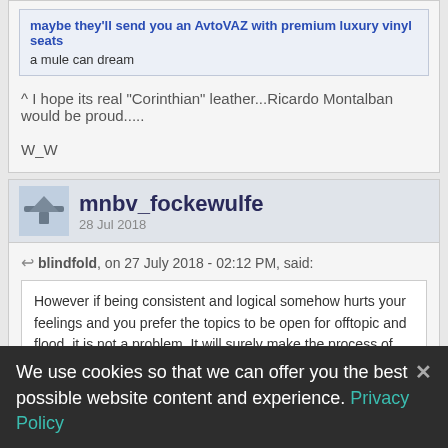maybe they'll send you an AvtoVAZ with premium luxury vinyl seats
a mule can dream
^ I hope its real "Corinthian" leather...Ricardo Montalban would be proud.....

W_W
mnbv_fockewulfe
28 Jul 2018
blindfold, on 27 July 2018 - 02:12 PM, said:
However if being consistent and logical somehow hurts your feelings and you prefer the topics to be open for offtopic and flood, it is not a problem. It will surely make the process of tracing and collecting feedback more complicated for me but... anything to please the Community.
We use cookies so that we can offer you the best possible website content and experience. Privacy Policy